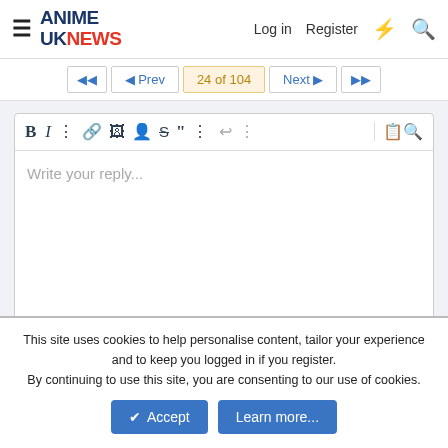ANIME UK NEWS — Log in  Register
Prev  24 of 104  Next
[Figure (screenshot): Rich text editor toolbar with bold, italic, more options, link, image, spoiler, strikethrough, quote, more options, undo, more options buttons; and a preview button on the right side]
Write your reply...
Post reply
Share:
This site uses cookies to help personalise content, tailor your experience and to keep you logged in if you register.
By continuing to use this site, you are consenting to our use of cookies.
Accept  Learn more...